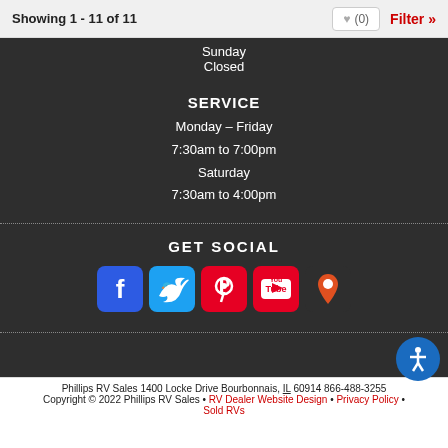Showing 1 - 11 of 11
Sunday
Closed
SERVICE
Monday – Friday
7:30am to 7:00pm
Saturday
7:30am to 4:00pm
GET SOCIAL
[Figure (infographic): Social media icons: Facebook, Twitter, Pinterest, YouTube, Google Maps]
Phillips RV Sales 1400 Locke Drive Bourbonnais, IL 60914 866-488-3255
Copyright © 2022 Phillips RV Sales • RV Dealer Website Design • Privacy Policy • Sold RVs